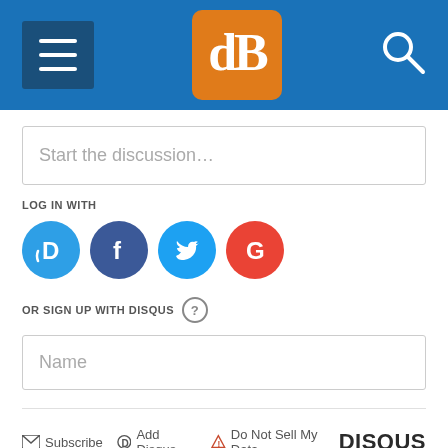[Figure (screenshot): Website header bar with hamburger menu button, dPS logo in orange square, and search icon on blue background]
Start the discussion…
LOG IN WITH
[Figure (logo): Social login icons: Disqus (blue D), Facebook (dark blue F), Twitter (light blue bird), Google (red G)]
OR SIGN UP WITH DISQUS ?
Name
Subscribe  Add Disqus  Do Not Sell My Data  DISQUS
ALSO ON DIGITAL PHOTOGRAPHY SCHOOL